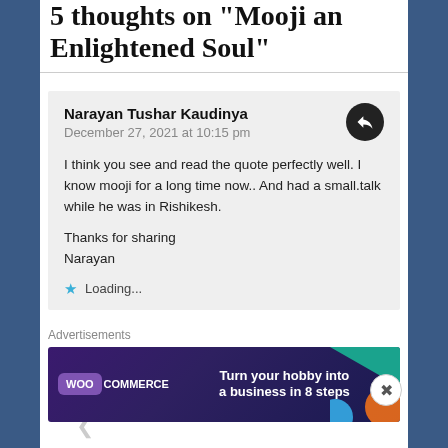5 thoughts on "Mooji an Enlightened Soul"
Narayan Tushar Kaudinya
December 27, 2021 at 10:15 pm

I think you see and read the quote perfectly well. I know mooji for a long time now.. And had a small.talk while he was in Rishikesh.

Thanks for sharing
Narayan
★ Loading...
Advertisements
[Figure (illustration): WooCommerce advertisement banner: dark purple background with teal and orange geometric shapes, text reads 'Turn your hobby into a business in 8 steps']